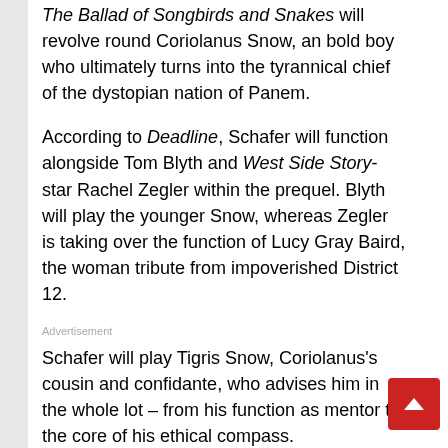The Ballad of Songbirds and Snakes will revolve round Coriolanus Snow, an bold boy who ultimately turns into the tyrannical chief of the dystopian nation of Panem.
According to Deadline, Schafer will function alongside Tom Blyth and West Side Story-star Rachel Zegler within the prequel. Blyth will play the younger Snow, whereas Zegler is taking over the function of Lucy Gray Baird, the woman tribute from impoverished District 12.
Advertisement
Schafer will play Tigris Snow, Coriolanus's cousin and confidante, who advises him in the whole lot – from his function as mentor to the core of his ethical compass.
The newest draft of the screenplay is by